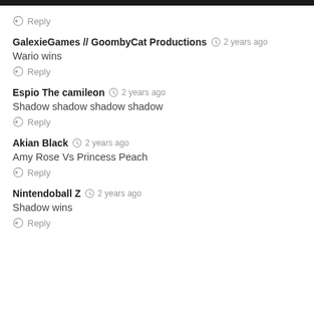Reply
GalexieGames // GoombyCat Productions  2 years ago
Wario wins
Reply
Espio The camileon  2 years ago
Shadow shadow shadow shadow
Reply
Akian Black  2 years ago
Amy Rose Vs Princess Peach
Reply
Nintendoball Z  2 years ago
Shadow wins
Reply